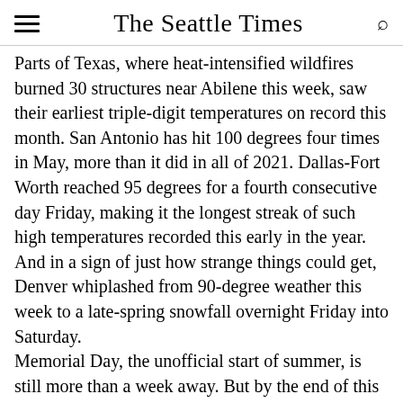The Seattle Times
Parts of Texas, where heat-intensified wildfires burned 30 structures near Abilene this week, saw their earliest triple-digit temperatures on record this month. San Antonio has hit 100 degrees four times in May, more than it did in all of 2021. Dallas-Fort Worth reached 95 degrees for a fourth consecutive day Friday, making it the longest streak of such high temperatures recorded this early in the year.
And in a sign of just how strange things could get, Denver whiplashed from 90-degree weather this week to a late-spring snowfall overnight Friday into Saturday.
Memorial Day, the unofficial start of summer, is still more than a week away. But by the end of this week, close to half of all Americans will be...